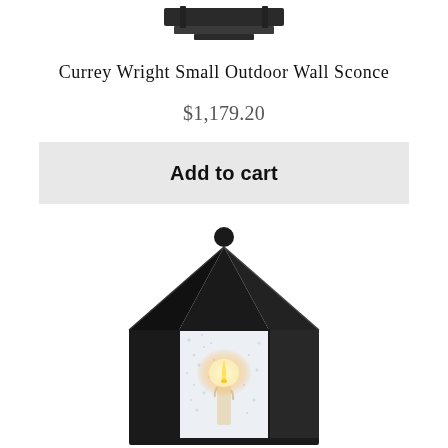[Figure (photo): Top cropped view of a black outdoor wall sconce mounting bracket against white background]
Currey Wright Small Outdoor Wall Sconce
$1,179.20
Add to cart
[Figure (photo): Close-up of a black lantern-style outdoor wall sconce with clear seeded glass panels and a lit candelabra bulb inside, black metal pyramid roof with ball finial on top]